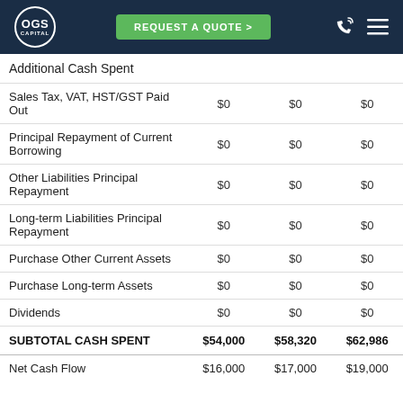OGS Capital — REQUEST A QUOTE
|  |  |  |  |
| --- | --- | --- | --- |
| Additional Cash Spent |  |  |  |
| Sales Tax, VAT, HST/GST Paid Out | $0 | $0 | $0 |
| Principal Repayment of Current Borrowing | $0 | $0 | $0 |
| Other Liabilities Principal Repayment | $0 | $0 | $0 |
| Long-term Liabilities Principal Repayment | $0 | $0 | $0 |
| Purchase Other Current Assets | $0 | $0 | $0 |
| Purchase Long-term Assets | $0 | $0 | $0 |
| Dividends | $0 | $0 | $0 |
| SUBTOTAL CASH SPENT | $54,000 | $58,320 | $62,986 |
| Net Cash Flow | $16,000 | $17,000 | $19,000 |